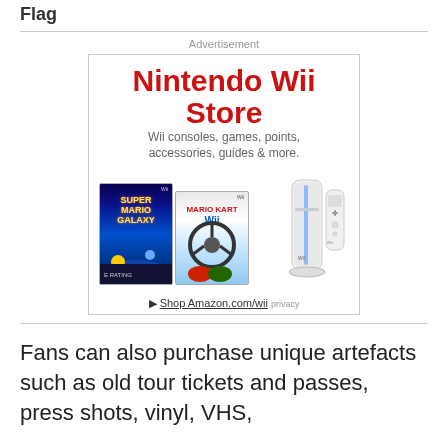Flag
Advertisement
[Figure (illustration): Nintendo Wii Store advertisement showing the text 'Nintendo Wii Store' in large red letters, subtitle 'Wii consoles, games, points, accessories, guides & more.', game boxes for Super Mario Galaxy and Mario Kart Wii, a Wii console and Wiimote, and a link 'Shop Amazon.com/wii' with a privacy label.]
Fans can also purchase unique artefacts such as old tour tickets and passes, press shots, vinyl, VHS,